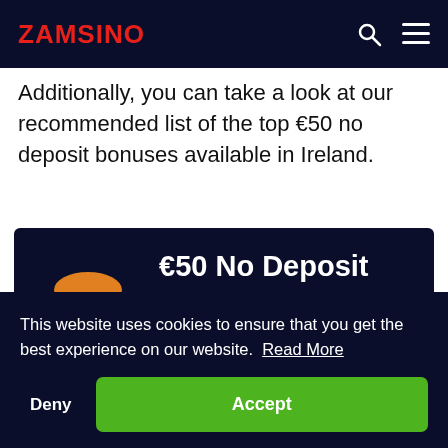ZAMSINO
Additionally, you can take a look at our recommended list of the top €50 no deposit bonuses available in Ireland.
[Figure (illustration): Promotional banner for €50 No Deposit Casino Bonus with a superhero mascot character (man in blue suit with red mask) on a dark navy background. Text reads '€50 No Deposit Casino Bonus']
This website uses cookies to ensure that you get the best experience on our website. Read More
Deny
Accept